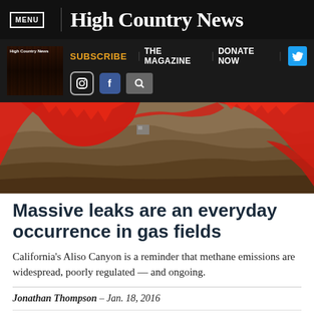MENU | High Country News
[Figure (screenshot): Secondary navigation bar with High Country News logo thumbnail, SUBSCRIBE, THE MAGAZINE, DONATE NOW links, Twitter button, Instagram and Facebook icons, and search icon]
[Figure (photo): Aerial or satellite view of a landscape with red plumes indicating gas leak emissions, likely Aliso Canyon gas field]
Massive leaks are an everyday occurrence in gas fields
California's Aliso Canyon is a reminder that methane emissions are widespread, poorly regulated — and ongoing.
Jonathan Thompson – Jan. 18, 2016